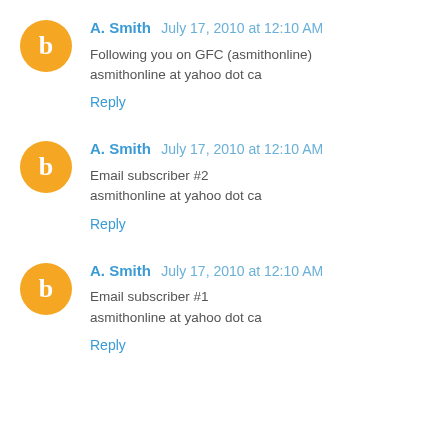A. Smith  July 17, 2010 at 12:10 AM
Following you on GFC (asmithonline)
asmithonline at yahoo dot ca
Reply
A. Smith  July 17, 2010 at 12:10 AM
Email subscriber #2
asmithonline at yahoo dot ca
Reply
A. Smith  July 17, 2010 at 12:10 AM
Email subscriber #1
asmithonline at yahoo dot ca
Reply